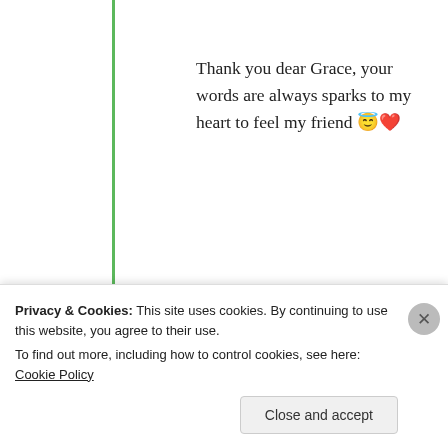Thank you dear Grace, your words are always sparks to my heart to feel my friend 😇❤️
★ Liked by 2 people
Log in to Reply
[Figure (photo): Round avatar photo of GraceoftheSun user]
GraceoftheSun
Privacy & Cookies: This site uses cookies. By continuing to use this website, you agree to their use. To find out more, including how to control cookies, see here: Cookie Policy
Close and accept